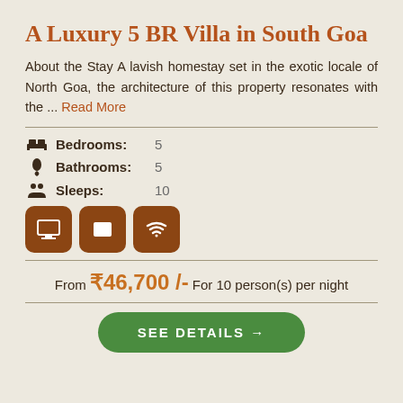A Luxury 5 BR Villa in South Goa
About the Stay A lavish homestay set in the exotic locale of North Goa, the architecture of this property resonates with the ... Read More
Bedrooms: 5
Bathrooms: 5
Sleeps: 10
From ₹46,700/- For 10 person(s) per night
SEE DETAILS →